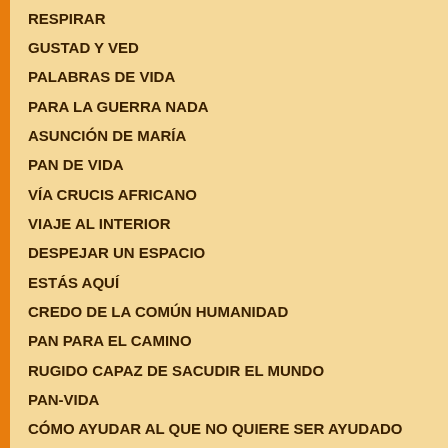RESPIRAR
GUSTAD Y VED
PALABRAS DE VIDA
PARA LA GUERRA NADA
ASUNCIÓN DE MARÍA
PAN DE VIDA
VÍA CRUCIS AFRICANO
VIAJE AL INTERIOR
DESPEJAR UN ESPACIO
ESTÁS AQUÍ
CREDO DE LA COMÚN HUMANIDAD
PAN PARA EL CAMINO
RUGIDO CAPAZ DE SACUDIR EL MUNDO
PAN-VIDA
CÓMO AYUDAR AL QUE NO QUIERE SER AYUDADO